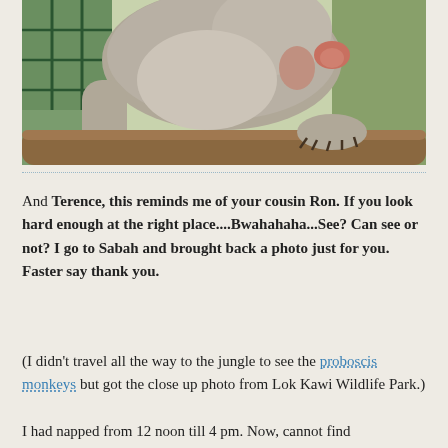[Figure (photo): Close-up photo of a proboscis monkey resting on a log, showing its large nose and clawed hands/feet. Greenery and cage bars visible in background.]
And Terence, this reminds me of your cousin Ron. If you look hard enough at the right place....Bwahahaha...See? Can see or not? I go to Sabah and brought back a photo just for you. Faster say thank you.
(I didn't travel all the way to the jungle to see the proboscis monkeys but got the close up photo from Lok Kawi Wildlife Park.)
I had napped from 12 noon till 4 pm. Now, cannot find